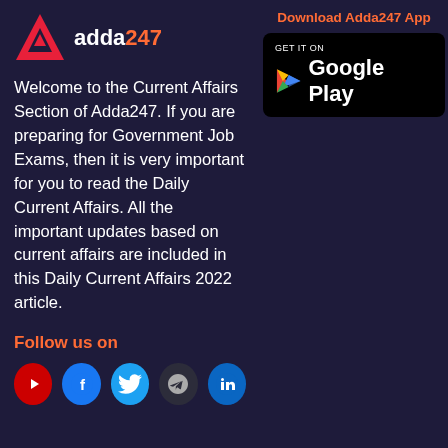[Figure (logo): Adda247 logo with red triangle arrow and white/orange text]
Download Adda247 App
[Figure (illustration): Google Play store download button badge (black background with Play triangle and 'GET IT ON Google Play' text)]
Welcome to the Current Affairs Section of Adda247. If you are preparing for Government Job Exams, then it is very important for you to read the Daily Current Affairs. All the important updates based on current affairs are included in this Daily Current Affairs 2022 article.
Follow us on
[Figure (illustration): Social media icons row: YouTube (red), Facebook (blue), Twitter (light blue), Telegram (dark), LinkedIn (blue)]